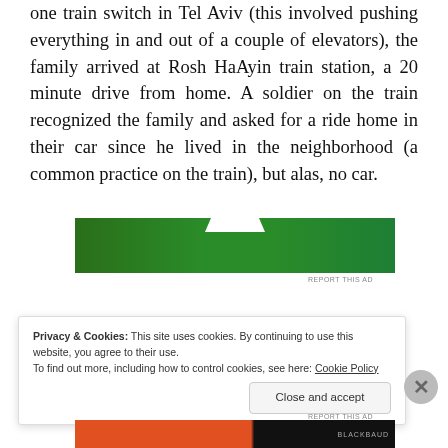one train switch in Tel Aviv (this involved pushing everything in and out of a couple of elevators), the family arrived at Rosh HaAyin train station, a 20 minute drive from home. A soldier on the train recognized the family and asked for a ride home in their car since he lived in the neighborhood (a common practice on the train), but alas, no car.
[Figure (other): Green advertisement banner with notch cutout at top center]
REPORT THIS AD
Privacy & Cookies: This site uses cookies. By continuing to use this website, you agree to their use.
To find out more, including how to control cookies, see here: Cookie Policy
Close and accept
[Figure (other): Bottom advertisement banner in orange and black]
REPORT THIS AD